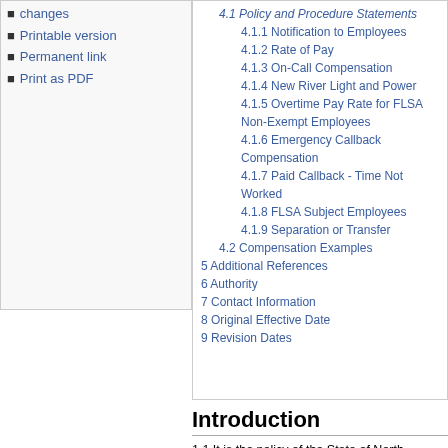changes
Printable version
Permanent link
Print as PDF
4.1 Policy and Procedure Statements (partial)
4.1.1 Notification to Employees
4.1.2 Rate of Pay
4.1.3 On-Call Compensation
4.1.4 New River Light and Power
4.1.5 Overtime Pay Rate for FLSA Non-Exempt Employees
4.1.6 Emergency Callback Compensation
4.1.7 Paid Callback - Time Not Worked
4.1.8 FLSA Subject Employees
4.1.9 Separation or Transfer
4.2 Compensation Examples
5 Additional References
6 Authority
7 Contact Information
8 Original Effective Date
9 Revision Dates
Introduction
1.1 It is the policy of the State of North Carolina to provide additional compensation to designated employees, regardless of appointment type, who are required to serve in on-call status and/or who are called back to work.